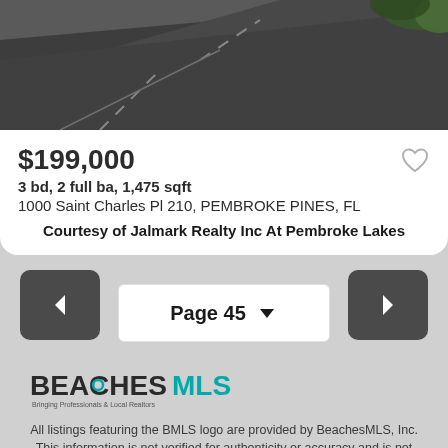[Figure (photo): Aerial/street view photo of a road with dark asphalt, with greenery visible in the upper right corner]
$199,000
3 bd, 2 full ba, 1,475 sqft
1000 Saint Charles Pl 210, PEMBROKE PINES, FL
Courtesy of Jalmark Realty Inc At Pembroke Lakes
Page 45
[Figure (logo): BeachesMLS logo with tagline 'Bringing Professionals & Local Realtors']
All listings featuring the BMLS logo are provided by BeachesMLS, Inc. This information is not verified for authenticity or accuracy and is not guaranteed. Copyright © 2022 BeachesMLS, Inc.